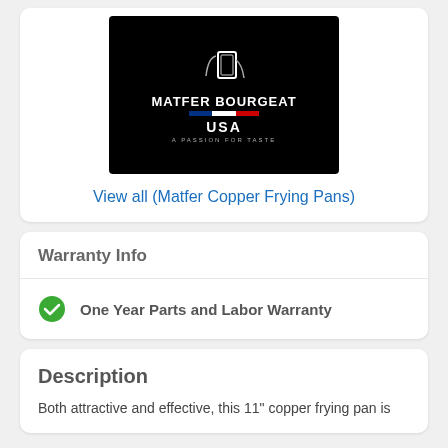[Figure (logo): Matfer Bourgeat USA logo on black background with tagline 'A PASSION FOR TASTE']
View all (Matfer Copper Frying Pans)
Warranty Info
One Year Parts and Labor Warranty
Description
Both attractive and effective, this 11" copper frying pan is